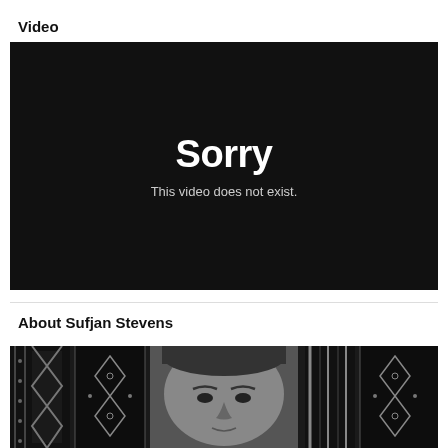Video
[Figure (screenshot): Black video player with error message: 'Sorry' in large white bold text and 'This video does not exist.' in smaller gray text below.]
About Sufjan Stevens
[Figure (photo): Black and white photo of Sufjan Stevens against a patterned textile background with geometric designs.]